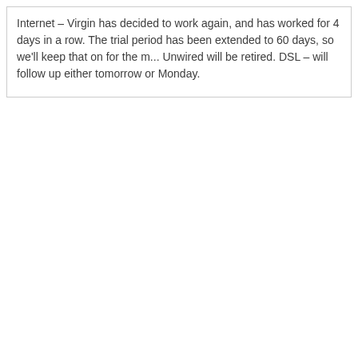Internet – Virgin has decided to work again, and has worked for 4 days in a row. The trial period has been extended to 60 days, so we'll keep that on for the m... Unwired will be retired. DSL – will follow up either tomorrow or Monday.